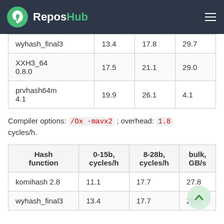ReposHub
| wyhash_final3 | 13.4 | 17.8 | 29.7 |
| XXH3_64 0.8.0 | 17.5 | 21.1 | 29.0 |
| prvhash64m 4.1 | 19.9 | 26.1 | 4.1 |
Compiler options: /Ox -mavx2 ; overhead: 1.8 cycles/h.
| Hash function | 0-15b, cycles/h | 8-28b, cycles/h | bulk, GB/s |
| --- | --- | --- | --- |
| komihash 2.8 | 11.1 | 17.7 | 27.8 |
| wyhash_final3 | 13.4 | 17.7 | 29.8 |